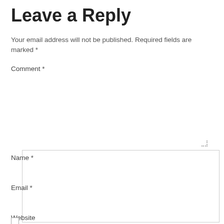Leave a Reply
Your email address will not be published. Required fields are marked *
Comment *
[Figure (other): Comment text area input box]
Name *
[Figure (other): Name text input field]
Email *
[Figure (other): Email text input field]
Website
[Figure (other): Checkbox input]
[Figure (other): Website text input field]